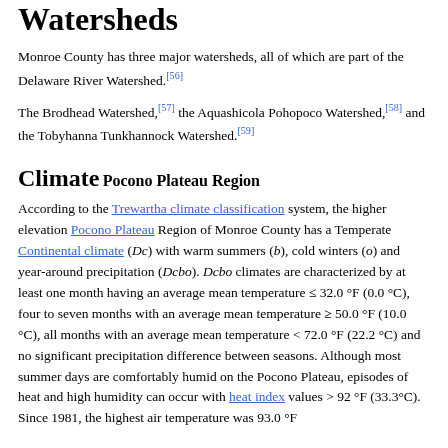Watersheds
Monroe County has three major watersheds, all of which are part of the Delaware River Watershed.[56]
The Brodhead Watershed,[57] the Aquashicola Pohopoco Watershed,[58] and the Tobyhanna Tunkhannock Watershed.[59]
Climate
Pocono Plateau Region
According to the Trewartha climate classification system, the higher elevation Pocono Plateau Region of Monroe County has a Temperate Continental climate (Dc) with warm summers (b), cold winters (o) and year-around precipitation (Dcbo). Dcbo climates are characterized by at least one month having an average mean temperature ≤ 32.0 °F (0.0 °C), four to seven months with an average mean temperature ≥ 50.0 °F (10.0 °C), all months with an average mean temperature < 72.0 °F (22.2 °C) and no significant precipitation difference between seasons. Although most summer days are comfortably humid on the Pocono Plateau, episodes of heat and high humidity can occur with heat index values > 92 °F (33.3°C). Since 1981, the highest air temperature was 93.0 °F